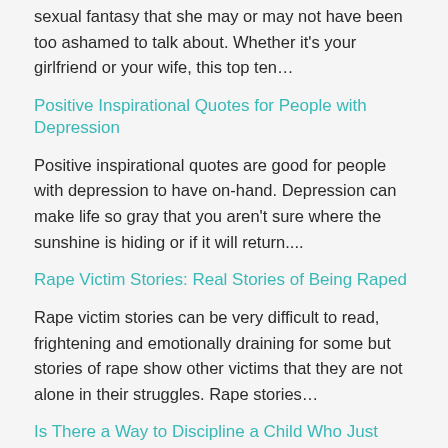sexual fantasy that she may or may not have been too ashamed to talk about. Whether it's your girlfriend or your wife, this top ten...
Positive Inspirational Quotes for People with Depression
Positive inspirational quotes are good for people with depression to have on-hand. Depression can make life so gray that you aren't sure where the sunshine is hiding or if it will return....
Rape Victim Stories: Real Stories of Being Raped
Rape victim stories can be very difficult to read, frightening and emotionally draining for some but stories of rape show other victims that they are not alone in their struggles. Rape stories...
Is There a Way to Discipline a Child Who Just Won't Listen?